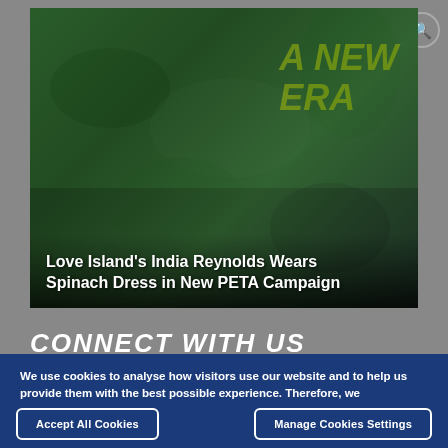DONATE  MENU  [search icon]
[Figure (photo): Woman in a green spinach dress posing for a PETA campaign, with yellow stylized text 'A NEW ERA' in the background]
Love Island's India Reynolds Wears Spinach Dress in New PETA Campaign
CONNECT WITH US
We use cookies to analyse how visitors use our website and to help us provide them with the best possible experience. Therefore, we recommend accepting all cookies. Please read  our cookie policy for more information and to understand how this may affect you..
Accept All Cookies
Manage Cookies Settings